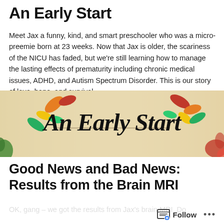An Early Start
Meet Jax a funny, kind, and smart preschooler who was a micro-preemie born at 23 weeks. Now that Jax is older, the scariness of the NICU has faded, but we're still learning how to manage the lasting effects of prematurity including chronic medical issues, ADHD, and Autism Spectrum Disorder. This is our story of love, hope, and survival.
[Figure (logo): An Early Start blog logo banner with colorful autumn leaves and cursive text reading 'An Early Start' on a warm beige/cream background with red and green paint splashes]
Good News and Bad News: Results from the Brain MRI
OK, gang – we got the results from Jax's brain MRI. Do